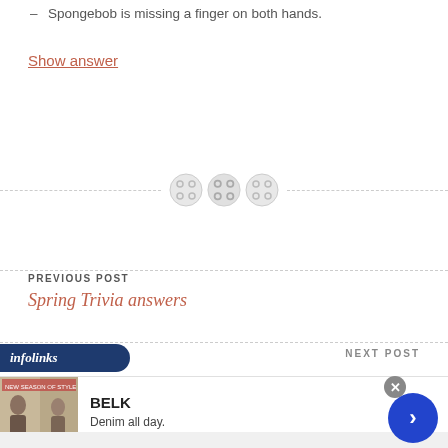Spongebob is missing a finger on both hands.
Show answer
[Figure (illustration): Section divider with three overlapping button/circle icons with four holes, on a dashed line]
PREVIOUS POST
Spring Trivia answers
NEXT POST
[Figure (logo): infolinks logo in dark blue banner]
[Figure (photo): BELK advertisement: Denim all day. www.belk.com with fashion image and navigation arrow]